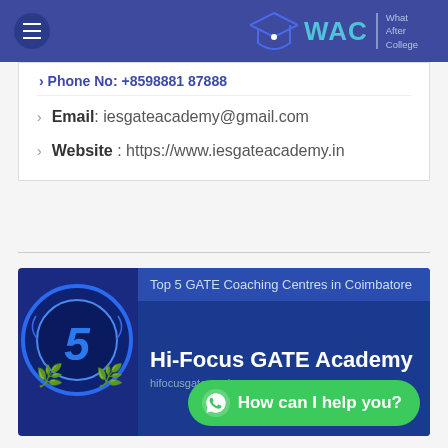WAC | What After College
Phone No: +8598881 87888
Email: iesgateacademy@gmail.com
Website : https://www.iesgateacademy.in
[Figure (infographic): Badge showing Top 5 GATE Coaching Centres in Coimbatore - Hi-Focus GATE Academy]
How can I help you?